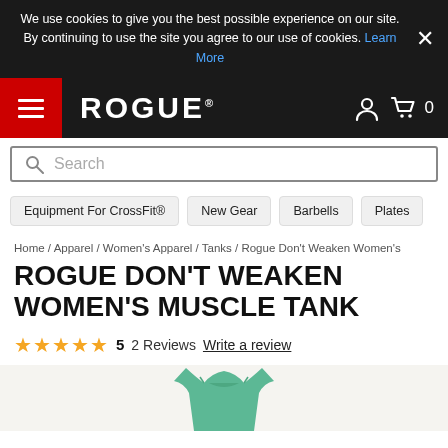We use cookies to give you the best possible experience on our site. By continuing to use the site you agree to our use of cookies. Learn More
[Figure (screenshot): Rogue Fitness website navigation bar with hamburger menu (red background), ROGUE logo, user icon, and cart icon showing 0 items]
Search
Equipment For CrossFit®   New Gear   Barbells   Plates
Home / Apparel / Women's Apparel / Tanks / Rogue Don't Weaken Women's
ROGUE DON'T WEAKEN WOMEN'S MUSCLE TANK
★★★★★  5  2 Reviews  Write a review
[Figure (photo): Partial view of a mint green women's muscle tank top against a light beige background]